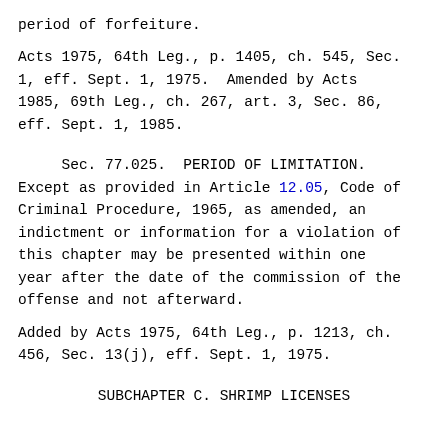period of forfeiture.
Acts 1975, 64th Leg., p. 1405, ch. 545, Sec. 1, eff. Sept. 1, 1975.  Amended by Acts 1985, 69th Leg., ch. 267, art. 3, Sec. 86, eff. Sept. 1, 1985.
Sec. 77.025.  PERIOD OF LIMITATION. Except as provided in Article 12.05, Code of Criminal Procedure, 1965, as amended, an indictment or information for a violation of this chapter may be presented within one year after the date of the commission of the offense and not afterward.
Added by Acts 1975, 64th Leg., p. 1213, ch. 456, Sec. 13(j), eff. Sept. 1, 1975.
SUBCHAPTER C. SHRIMP LICENSES